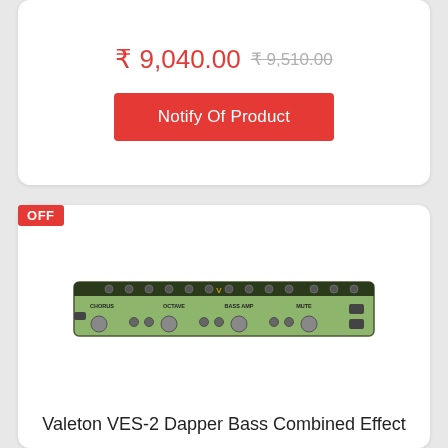₹ 9,040.00 ₹ 9,510.00
Notify Of Product
OFF
[Figure (photo): Valeton VES-2 Dapper Bass Combined Effect pedal board, green rectangular unit with multiple knobs and footswitches]
Valeton VES-2 Dapper Bass Combined Effect